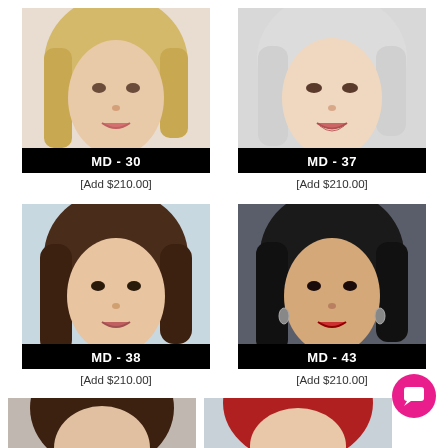[Figure (photo): Product image of doll head MD-30 with blonde hair]
MD - 30
[Add $210.00]
[Figure (photo): Product image of doll head MD-37 with light blonde hair]
MD - 37
[Add $210.00]
[Figure (photo): Product image of doll head MD-38 with dark brown wavy hair]
MD - 38
[Add $210.00]
[Figure (photo): Product image of doll head MD-43 with black hair and earrings]
MD - 43
[Add $210.00]
[Figure (photo): Partial product image of doll head with dark hair (bottom, partially visible)]
[Figure (photo): Partial product image of doll head with red hair (bottom, partially visible)]